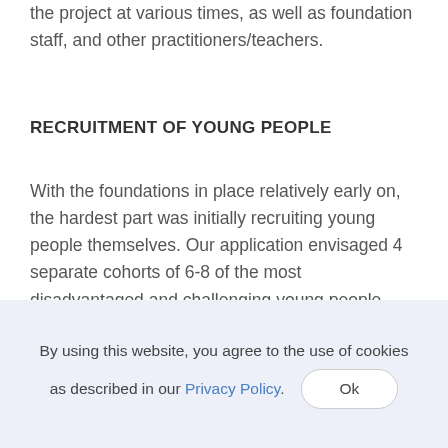the project at various times, as well as foundation staff, and other practitioners/teachers.
RECRUITMENT OF YOUNG PEOPLE
With the foundations in place relatively early on, the hardest part was initially recruiting young people themselves. Our application envisaged 4 separate cohorts of 6-8 of the most disadvantaged and challenging young people across our conurbation. These were young people who had dropped out of the mainstream education system, been excluded or were
By using this website, you agree to the use of cookies as described in our Privacy Policy.  Ok